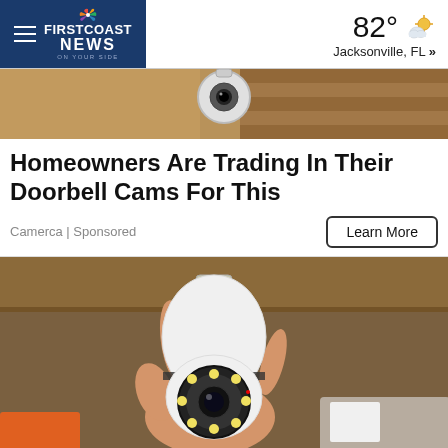FIRSTCOAST NEWS | 82° Jacksonville, FL »
[Figure (photo): Close-up photo of a doorbell camera installed on a wall with stone/stucco texture visible in background]
Homeowners Are Trading In Their Doorbell Cams For This
Camerca | Sponsored
[Figure (photo): A hand holding a white light-bulb shaped security camera with a circular lens and LED ring, against a wooden shelf background]